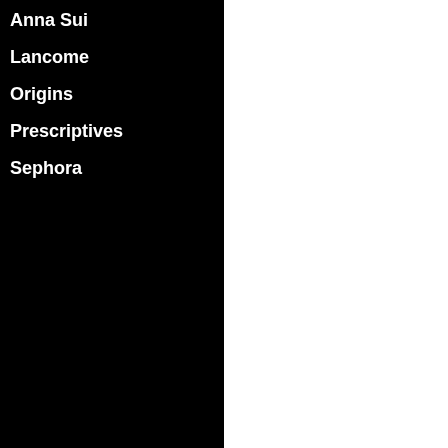Anna Sui
Lancome
Origins
Prescriptives
Sephora